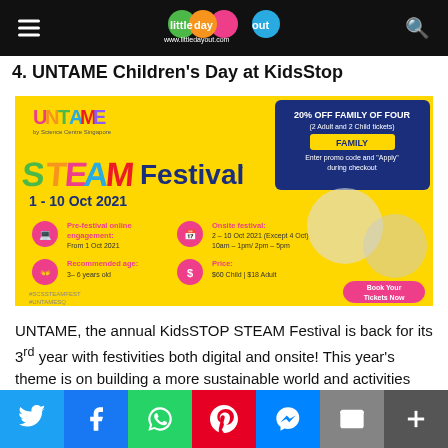little day out — www.littledayout.com
4. UNTAME Children's Day at KidsStop
[Figure (photo): UNTAME STEAM Festival promotional banner for 1-10 Oct 2021 at KidsStop, Science Centre Singapore. Yellow background with colorful text. Shows 20% off family of four promo code. Pre-festival online engagement from 1 Oct 2021. Onsite festival 2-10 Oct 2021 (Except 4 Oct) 10am-1pm/2pm-5pm. Recommended age 3-6 years old. Price $60 Child | $18 Adult. Book Your Tickets Now button. Hashtags #SCSSTEAMFEST #UNTAMESQ]
UNTAME, the annual KidsSTOP STEAM Festival is back for its 3rd year with festivities both digital and onsite! This year's theme is on building a more sustainable world and activities